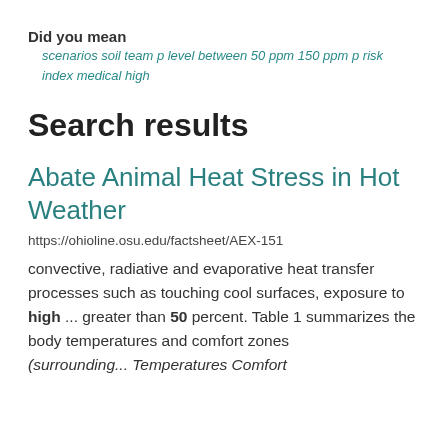Did you mean
scenarios soil team p level between 50 ppm 150 ppm p risk index medical high
Search results
Abate Animal Heat Stress in Hot Weather
https://ohioline.osu.edu/factsheet/AEX-151
convective, radiative and evaporative heat transfer processes such as touching cool surfaces, exposure to high ... greater than 50 percent. Table 1 summarizes the body temperatures and comfort zones (surrounding... Temperatures Comfort